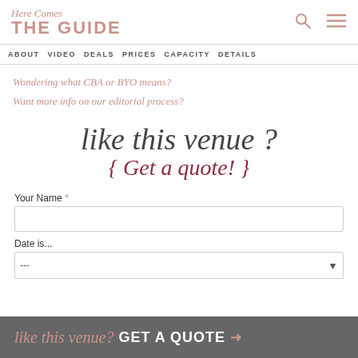Here Comes THE GUIDE
ABOUT  VIDEO  DEALS  PRICES  CAPACITY  DETAILS
Wondering what CBA or BYO means?
Want more info on our editorial process?
like this venue ? { Get a quote! }
Your Name *
Date is...
like this venue? GET A QUOTE